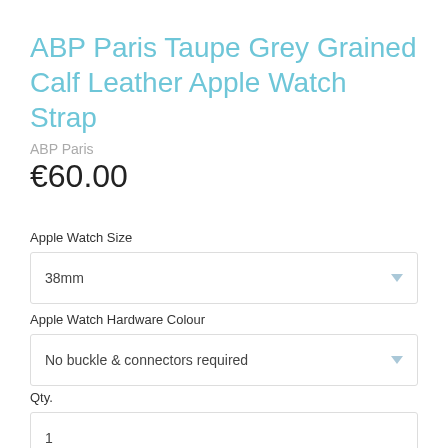ABP Paris Taupe Grey Grained Calf Leather Apple Watch Strap
ABP Paris
€60.00
Apple Watch Size
38mm
Apple Watch Hardware Colour
No buckle & connectors required
Qty.
1